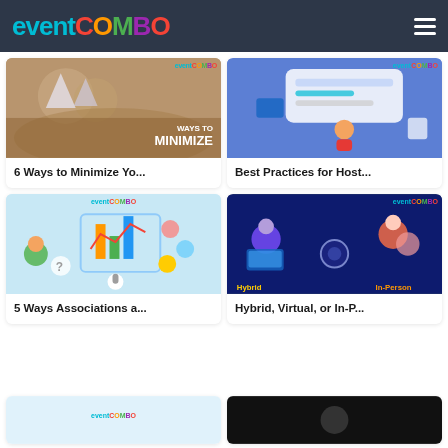eventCOMBO
[Figure (screenshot): Blog card: catering/event photo with text overlay 'WAYS TO MINIMIZE']
6 Ways to Minimize Yo...
[Figure (illustration): Blog card: virtual event illustration with character at screen]
Best Practices for Host...
[Figure (illustration): Blog card: association/community illustration with people and charts]
5 Ways Associations a...
[Figure (illustration): Blog card: hybrid vs in-person event illustration with 'Hybrid' and 'In-Person' labels]
Hybrid, Virtual, or In-P...
[Figure (illustration): Partial blog card at bottom left with EventCombo logo]
[Figure (photo): Partial blog card at bottom right, dark background]